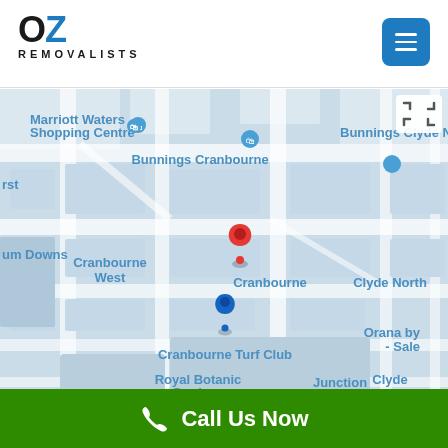[Figure (logo): OZ Removalists logo — 'OZ' in large bold text with blue Z, 'REMOVALISTS' in spaced caps below]
[Figure (map): Google Maps screenshot showing Cranbourne area in Melbourne, Australia. Red pin marker at Cranbourne centre, blue pin at Cranbourne Turf Club. Labels include: Marriott Waters Shopping Centre, Bunnings Cranbourne, Bunnings Clyde North, Cranbourne West, Cranbourne, Cranbourne Turf Club, Royal Botanic Gardens Cranbourne, Botanic Ridge, Junction Village, Clyde, Clyde North, um Downs, rst, Orana by Sale. Map expand button (fullscreen icon) in top right.]
[Figure (other): Green call-to-action bar at bottom with phone icon and 'Call Us Now' text]